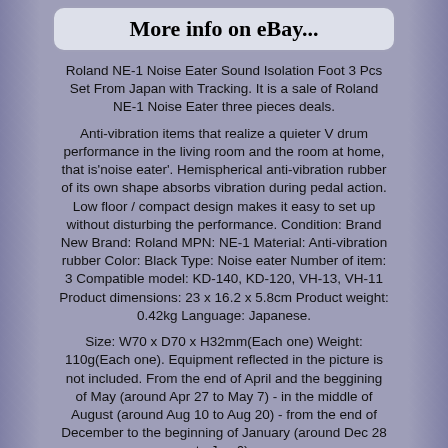[Figure (screenshot): eBay button styled as rounded rectangle with text 'More info on eBay...']
Roland NE-1 Noise Eater Sound Isolation Foot 3 Pcs Set From Japan with Tracking. It is a sale of Roland NE-1 Noise Eater three pieces deals.
Anti-vibration items that realize a quieter V drum performance in the living room and the room at home, that is'noise eater'. Hemispherical anti-vibration rubber of its own shape absorbs vibration during pedal action. Low floor / compact design makes it easy to set up without disturbing the performance. Condition: Brand New Brand: Roland MPN: NE-1 Material: Anti-vibration rubber Color: Black Type: Noise eater Number of item: 3 Compatible model: KD-140, KD-120, VH-13, VH-11 Product dimensions: 23 x 16.2 x 5.8cm Product weight: 0.42kg Language: Japanese.
Size: W70 x D70 x H32mm(Each one) Weight: 110g(Each one). Equipment reflected in the picture is not included. From the end of April and the beggining of May (around Apr 27 to May 7) - in the middle of August (around Aug 10 to Aug 20) - from the end of December to the beginning of January (around Dec 28 to Jan 6).